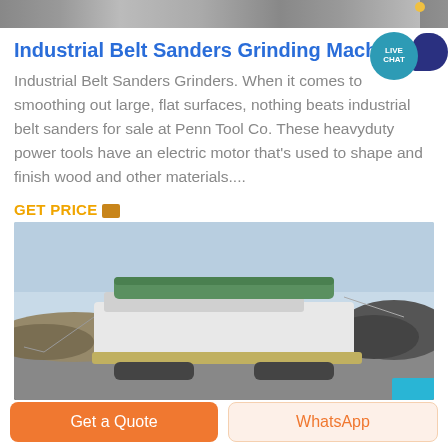[Figure (photo): Partial image strip at the top of the page, showing the edge of a photograph]
Industrial Belt Sanders Grinding Machines f
Industrial Belt Sanders Grinders. When it comes to smoothing out large, flat surfaces, nothing beats industrial belt sanders for sale at Penn Tool Co. These heavyduty power tools have an electric motor that's used to shape and finish wood and other materials....
GET PRICE
[Figure (photo): Large industrial grinding/screening machine on a job site outdoors, with mounds of aggregate material in the background under a light blue sky]
Get a Quote
WhatsApp